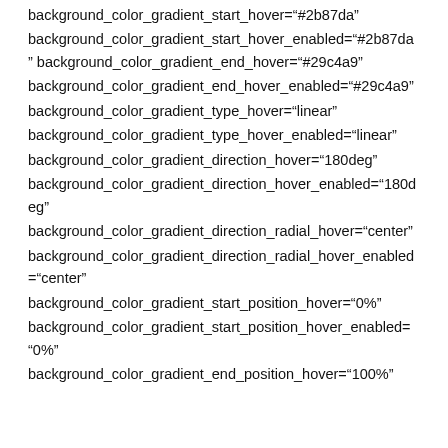background_color_gradient_start_hover="#2b87da" background_color_gradient_start_hover_enabled="#2b87da" background_color_gradient_end_hover="#29c4a9" background_color_gradient_end_hover_enabled="#29c4a9" background_color_gradient_type_hover="linear" background_color_gradient_type_hover_enabled="linear" background_color_gradient_direction_hover="180deg" background_color_gradient_direction_hover_enabled="180deg" background_color_gradient_direction_radial_hover="center" background_color_gradient_direction_radial_hover_enabled="center" background_color_gradient_start_position_hover="0%" background_color_gradient_start_position_hover_enabled="0%" background_color_gradient_end_position_hover="100%"